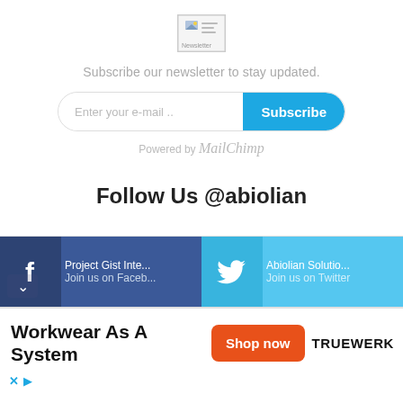[Figure (illustration): Newsletter icon/image placeholder]
Subscribe our newsletter to stay updated.
Enter your e-mail .. [Subscribe button]
Powered by MailChimp
Follow Us @abiolian
Project Gist Inte... Join us on Faceb...
Abiolian Solutio... Join us on Twitter
Workkwear As A System
Shop now  TRUEWERK